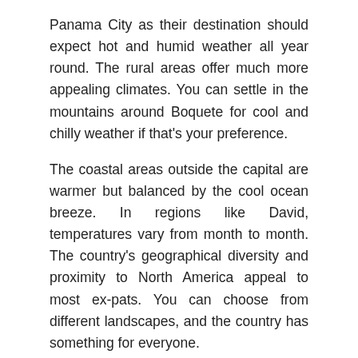Panama City as their destination should expect hot and humid weather all year round. The rural areas offer much more appealing climates. You can settle in the mountains around Boquete for cool and chilly weather if that's your preference.
The coastal areas outside the capital are warmer but balanced by the cool ocean breeze. In regions like David, temperatures vary from month to month. The country's geographical diversity and proximity to North America appeal to most ex-pats. You can choose from different landscapes, and the country has something for everyone.
What You Need for Retiring In Panama